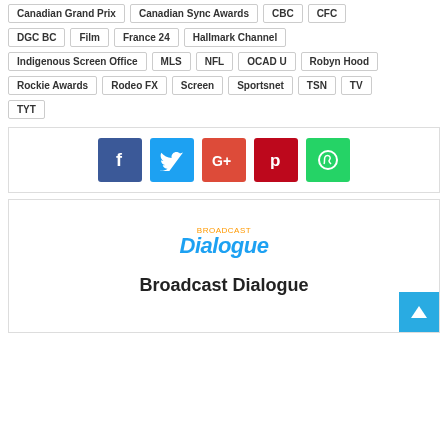Canadian Grand Prix
Canadian Sync Awards
CBC
CFC
DGC BC
Film
France 24
Hallmark Channel
Indigenous Screen Office
MLS
NFL
OCAD U
Robyn Hood
Rockie Awards
Rodeo FX
Screen
Sportsnet
TSN
TV
TYT
[Figure (infographic): Social media share buttons: Facebook (blue), Twitter (light blue), Google+ (red-orange), Pinterest (dark red), WhatsApp (green)]
[Figure (logo): Broadcast Dialogue logo with orange 'BROADCAST' text above blue italic 'Dialogue' text]
Broadcast Dialogue